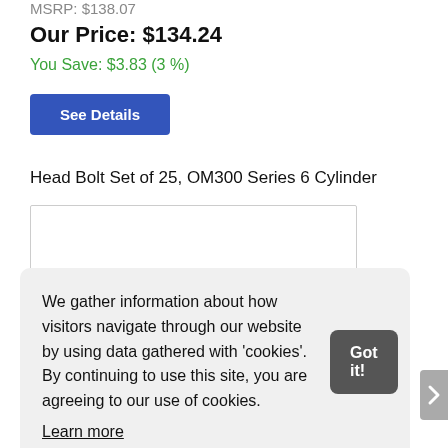MSRP: $138.07
Our Price: $134.24
You Save: $3.83 (3 %)
See Details
Head Bolt Set of 25, OM300 Series 6 Cylinder
[Figure (photo): Product image placeholder box]
We gather information about how visitors navigate through our website by using data gathered with 'cookies'. By continuing to use this site, you are agreeing to our use of cookies. Learn more
Got it!